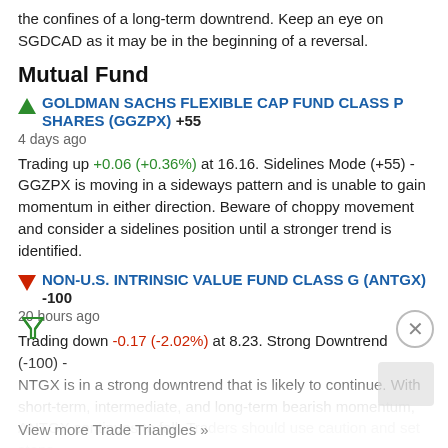the confines of a long-term downtrend. Keep an eye on SGDCAD as it may be in the beginning of a reversal.
Mutual Fund
GOLDMAN SACHS FLEXIBLE CAP FUND CLASS P SHARES (GGZPX) +55
4 days ago
Trading up +0.06 (+0.36%) at 16.16. Sidelines Mode (+55) - GGZPX is moving in a sideways pattern and is unable to gain momentum in either direction. Beware of choppy movement and consider a sidelines position until a stronger trend is identified.
NON-U.S. INTRINSIC VALUE FUND CLASS G (ANTGX) -100
20 hours ago
Trading down -0.17 (-2.02%) at 8.23. Strong Downtrend (-100) - ANTGX is in a strong downtrend that is likely to continue. With short-term, intermediate, and long-term bearish momentum, ANTGX continues to fall. Traders should use caution and set stops.
View more Trade Triangles »